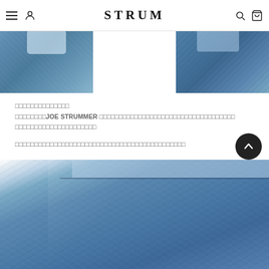STRUM — Navigation bar with hamburger menu, user icon, logo, search icon, cart icon
[Figure (photo): Two cropped product photos of distressed blue denim jeans at the top of the page]
□□□□□□□□□□□□□□
□□□□□□□□JOE STRUMMER □□□□□□□□□□□□□□□□□□□□□□□□□□□□□□□□□□□
□□□□□□□□□□□□□□□□□□□□□

□□□□□□□□□□□□□□□□□□□□□□□□□□□□□□□□□□□□□□□□□□□□
[Figure (photo): Close-up photo of blue denim jeans waistband area at the bottom of the page]